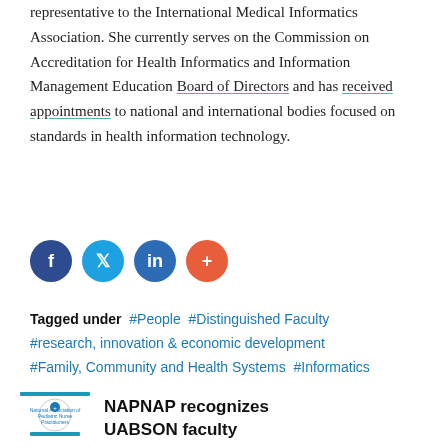representative to the International Medical Informatics Association. She currently serves on the Commission on Accreditation for Health Informatics and Information Management Education Board of Directors and has received appointments to national and international bodies focused on standards in health information technology.
[Figure (other): Social media share buttons: Facebook (dark blue), Twitter (light blue), LinkedIn (blue), Plus/share (orange-red)]
Tagged under  #People  #Distinguished Faculty  #research, innovation & economic development  #Family, Community and Health Systems  #Informatics
[Figure (logo): National Association of Pediatric Nurse Practitioners logo with teal horizontal bar above]
NAPNAP recognizes UABSON faculty